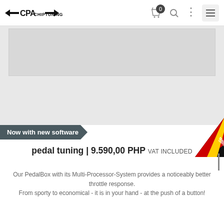CPA CHIPTUNING
[Figure (screenshot): Product image area showing grey placeholder boxes for a product photo]
Now with new software
[Figure (infographic): Made in Germany corner ribbon badge with German flag colors (black, red, yellow)]
pedal tuning | 9.590,00 PHP VAT included
Our PedalBox with its Multi-Processor-System provides a noticeably better throttle response. From sporty to economical - it is in your hand - at the push of a button!